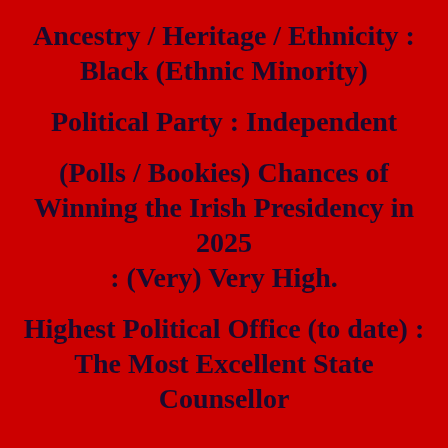Ancestry / Heritage / Ethnicity : Black (Ethnic Minority)
Political Party : Independent
(Polls / Bookies) Chances of Winning the Irish Presidency in 2025 : (Very) Very High.
Highest Political Office (to date) : The Most Excellent State Counsellor